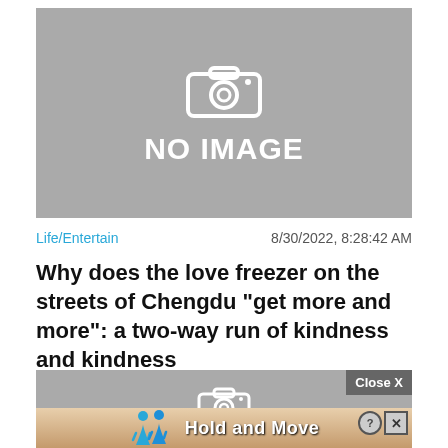[Figure (other): Gray placeholder image with a white camera icon and text 'NO IMAGE']
Life/Entertain   8/30/2022, 8:28:42 AM
Why does the love freezer on the streets of Chengdu "get more and more": a two-way run of kindness and kindness
[Figure (other): Gray placeholder image with a white camera icon and a 'Close X' button overlay]
[Figure (other): Advertisement bar showing two blue 3D figures and text 'Hold and Move' with close icons]